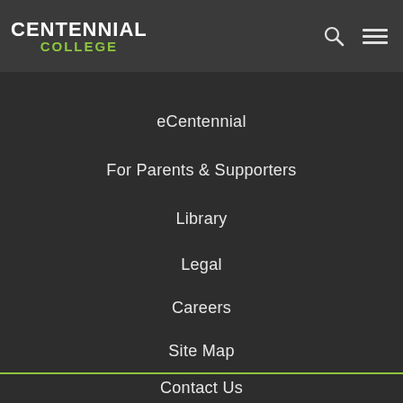[Figure (logo): Centennial College logo with white CENTENNIAL text and green COLLEGE text]
eCentennial
For Parents & Supporters
Library
Legal
Careers
Site Map
Contact Us
(416) 289-5000
[Figure (illustration): Row of social media icons: Facebook, Twitter, YouTube, LinkedIn, Instagram, Tumblr, Pinterest, RSS, Google+]